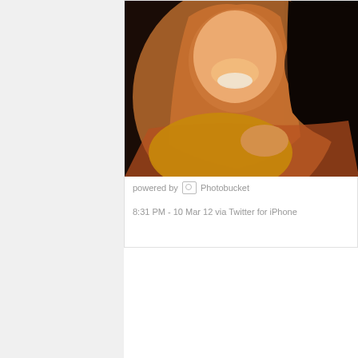[Figure (photo): Close-up photo of two smiling women with long hair, warm orange/amber tones, appears to be taken at night or indoors with warm lighting. Photo shown inside a tweet card with Photobucket branding.]
powered by Photobucket
8:31 PM - 10 Mar 12 via Twitter for iPhone
I have to say, it made my weekend. I mean, PUH-LEEZE to Tweet a picture to me.
Look at them! They're DARLING. And I'm honored that about me, and my kids, and my stuff. I was tickled, wh me if I was okay. (I was fine. This week was just kickin